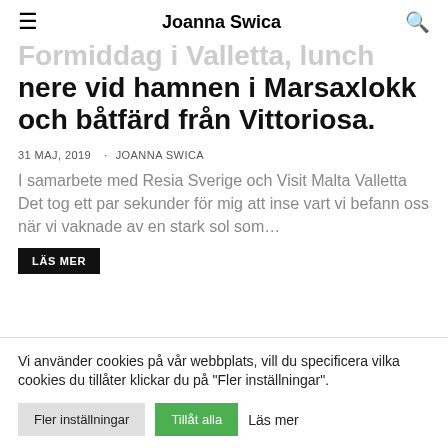Joanna Swica
nere vid hamnen i Marsaxlokk och båtfärd från Vittoriosa.
31 MAJ, 2019 · JOANNA SWICA
I samarbete med Resia Sverige och Visit Malta Valletta Det tog ett par sekunder för mig att inse vart vi befann oss när vi vaknade av en stark sol som…
LÄS MER
Vi använder cookies på vår webbplats, vill du specificera vilka cookies du tillåter klickar du på "Fler inställningar".
Fler inställningar   Tillåt alla   Läs mer